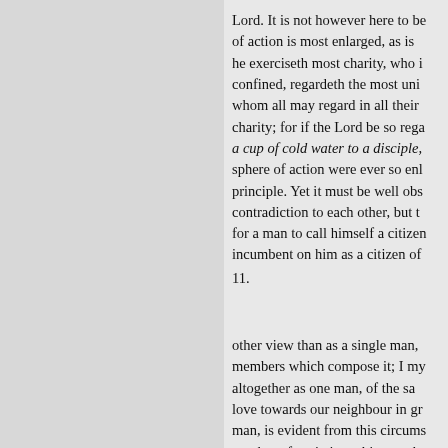Lord. It is not however here to be of action is most enlarged, as is he exerciseth most charity, who confined, regardeth the most uni whom all may regard in all their charity; for if the Lord be so rega a cup of cold water to a disciple, sphere of action were ever so en principle. Yet it must be well obs contradiction to each other, but t for a man to call himself a citize incumbent on him as a citizen of 11.

other view than as a single man, members which compose it; I my altogether as one man, of the sa love towards our neighbour in gr man, is evident from this circums number of societies subject to th of the uses, which they perform. other, as their authority over soci called the king; and every one t